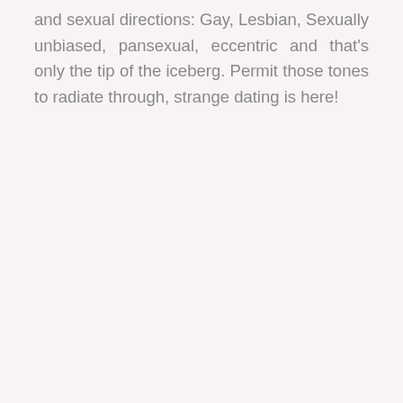and sexual directions: Gay, Lesbian, Sexually unbiased, pansexual, eccentric and that's only the tip of the iceberg. Permit those tones to radiate through, strange dating is here!